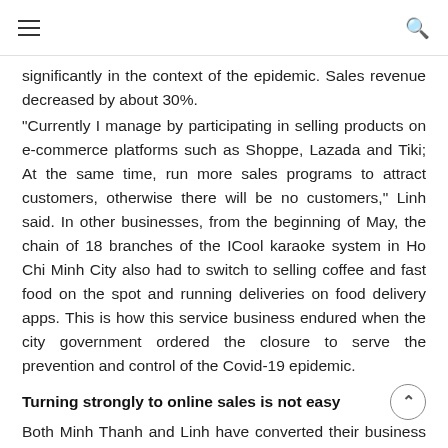≡  [search icon]
significantly in the context of the epidemic. Sales revenue decreased by about 30%.
"Currently I manage by participating in selling products on e-commerce platforms such as Shoppe, Lazada and Tiki; At the same time, run more sales programs to attract customers, otherwise there will be no customers," Linh said. In other businesses, from the beginning of May, the chain of 18 branches of the ICool karaoke system in Ho Chi Minh City also had to switch to selling coffee and fast food on the spot and running deliveries on food delivery apps. This is how this service business endured when the city government ordered the closure to serve the prevention and control of the Covid-19 epidemic.
Turning strongly to online sales is not easy
Both Minh Thanh and Linh have converted their business models to online sales, not renting space to regulate